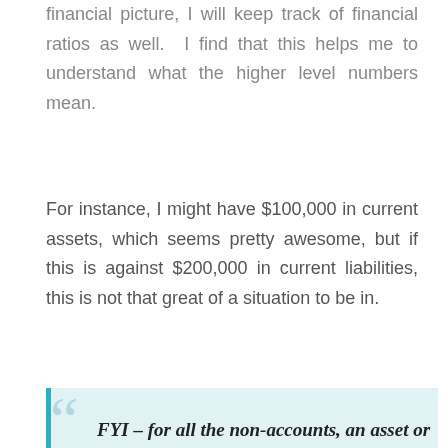financial picture, I will keep track of financial ratios as well. I find that this helps me to understand what the higher level numbers mean.
For instance, I might have $100,000 in current assets, which seems pretty awesome, but if this is against $200,000 in current liabilities, this is not that great of a situation to be in.
FYI – for all the non-accounts, an asset or current liability are those